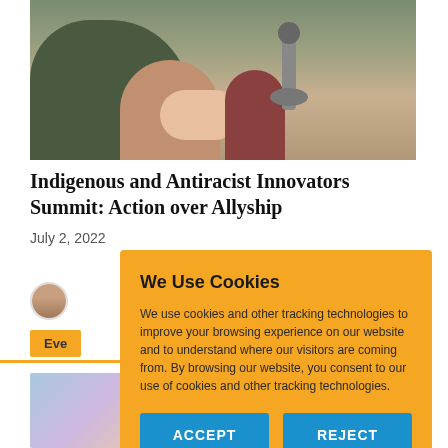[Figure (photo): Photo of people seated at a panel table with microphones, one person in a green shirt visible in foreground]
Indigenous and Antiracist Innovators Summit: Action over Allyship
July 2, 2022
[Figure (photo): Author avatar circular portrait photo]
Eve
We Use Cookies
We use cookies and other tracking technologies to improve your browsing experience on our website and to understand where our visitors are coming from. By browsing our website, you consent to our use of cookies and other tracking technologies.
ACCEPT
REJECT